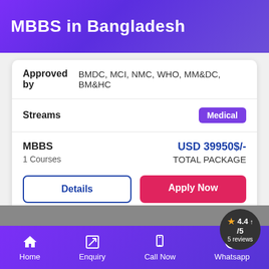MBBS in Bangladesh
| Approved by | BMDC, MCI, NMC, WHO, MM&DC, BM&HC |
| Streams | Medical |
| MBBS / 1 Courses | USD 39950$/- TOTAL PACKAGE |
Details | Apply Now
[Figure (photo): Gray banner image area with rating badge showing 4.40/5, 5 reviews]
Home  Enquiry  Call Now  Whatsapp